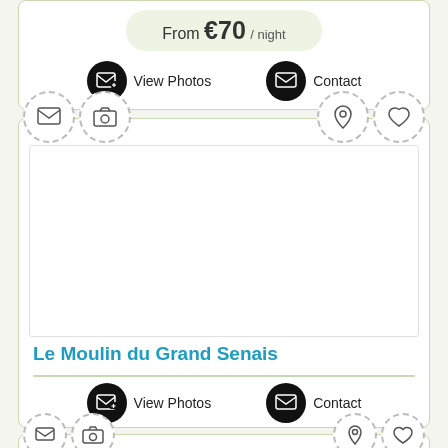From €70 / night
View Photos
Contact
[Figure (screenshot): Property listing card for 'Le Moulin du Grand Senais' showing icon overlays (mail, camera, location pin, heart), blank image area, property title in blue, divider, and View Photos / Contact buttons]
Le Moulin du Grand Senais
View Photos
Contact
[Figure (screenshot): Partial bottom card with dashed icon circles (mail, camera, location, heart) visible at top]